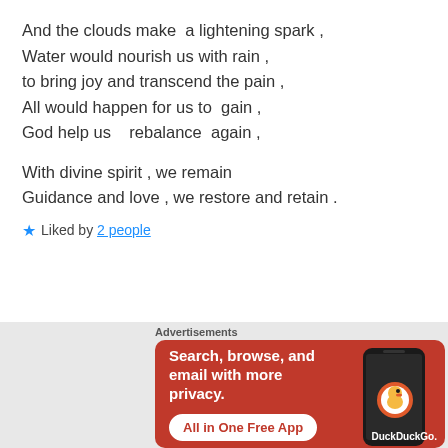And the clouds make  a lightening spark ,
Water would nourish us with rain ,
to bring joy and transcend the pain ,
All would happen for us to  gain ,
God help us   rebalance  again ,

With divine spirit , we remain
Guidance and love , we restore and retain .
★ Liked by 2 people
Reply
[Figure (screenshot): DuckDuckGo advertisement banner with orange background. Text: 'Search, browse, and email with more privacy. All in One Free App' with DuckDuckGo logo and phone graphic.]